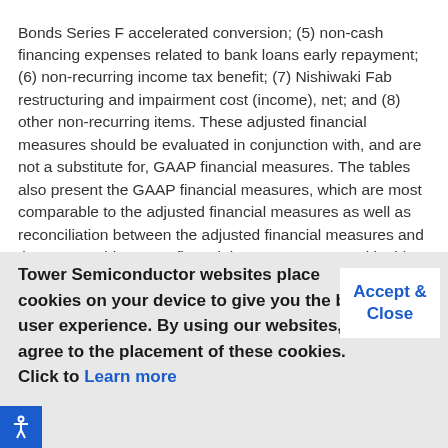Bonds Series F accelerated conversion; (5) non-cash financing expenses related to bank loans early repayment; (6) non-recurring income tax benefit; (7) Nishiwaki Fab restructuring and impairment cost (income), net; and (8) other non-recurring items. These adjusted financial measures should be evaluated in conjunction with, and are not a substitute for, GAAP financial measures. The tables also present the GAAP financial measures, which are most comparable to the adjusted financial measures as well as reconciliation between the adjusted financial measures and the comparable GAAP financial measures. As used in this release, the term Earnings Before Interest Tax Depreciation and Amortization (EBITDA) consists of profit or
Tower Semiconductor websites place cookies on your device to give you the best user experience. By using our websites, you agree to the placement of these cookies. Click to Learn more
Accept & Close